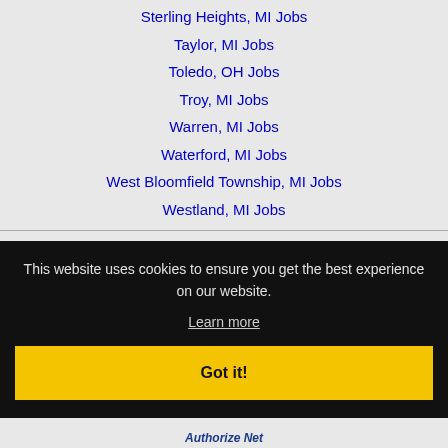Sterling Heights, MI Jobs
Taylor, MI Jobs
Toledo, OH Jobs
Troy, MI Jobs
Warren, MI Jobs
Waterford, MI Jobs
West Bloomfield Township, MI Jobs
Westland, MI Jobs
This website uses cookies to ensure you get the best experience on our website.
Learn more
Got it!
Authorize Net